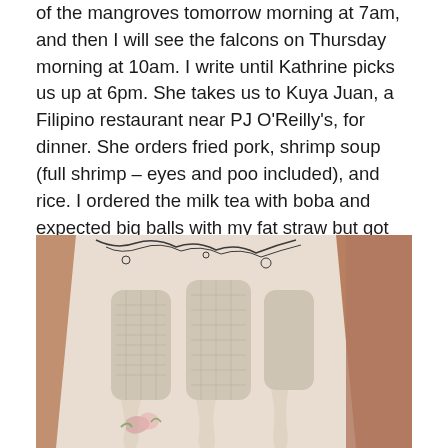of the mangroves tomorrow morning at 7am, and then I will see the falcons on Thursday morning at 10am. I write until Kathrine picks us up at 6pm. She takes us to Kuya Juan, a Filipino restaurant near PJ O'Reilly's, for dinner. She orders fried pork, shrimp soup (full shrimp – eyes and poo included), and rice. I ordered the milk tea with boba and expected big balls with my fat straw but got tiny ones with gel fruit chunks too.
[Figure (photo): Close-up photograph of a decorative ceramic or porcelain object, possibly a vase or figurine, with ornate carved/molded relief designs including arch-like cutouts and floral motifs. The object is cream/white colored with some dark line detailing. Background is blurred with warm brown tones.]